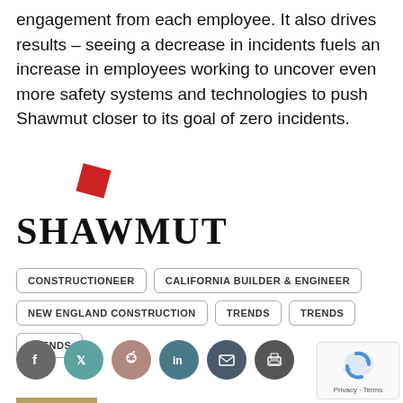engagement from each employee. It also drives results – seeing a decrease in incidents fuels an increase in employees working to uncover even more safety systems and technologies to push Shawmut closer to its goal of zero incidents.
[Figure (logo): Shawmut logo: red rotated square diamond above bold serif text reading SHAWMUT]
CONSTRUCTIONEER
CALIFORNIA BUILDER & ENGINEER
NEW ENGLAND CONSTRUCTION
TRENDS
TRENDS
TRENDS
[Figure (infographic): Social share buttons: Facebook (grey), Twitter (teal), Reddit (pink/tan), LinkedIn (teal), Email (dark grey), Print (dark grey)]
[Figure (other): reCAPTCHA widget with Privacy and Terms links]